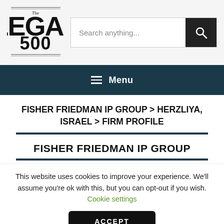[Figure (logo): The Legal 500 logo — black serif text with 'The' above 'LEGAL' in large bold letters and '500' below]
Search anything...
≡ Menu
FISHER FRIEDMAN IP GROUP > HERZLIYA, ISRAEL > FIRM PROFILE
FISHER FRIEDMAN IP GROUP
This website uses cookies to improve your experience. We'll assume you're ok with this, but you can opt-out if you wish. Cookie settings
ACCEPT